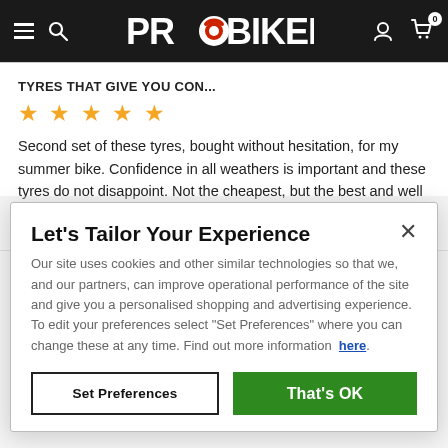PROBIKEKIT
TYRES THAT GIVE YOU CON...
Second set of these tyres, bought without hesitation, for my summer bike. Confidence in all weathers is important and these tyres do not disappoint. Not the cheapest, but the best and well worth the money.
Let's Tailor Your Experience
Our site uses cookies and other similar technologies so that we, and our partners, can improve operational performance of the site and give you a personalised shopping and advertising experience. To edit your preferences select "Set Preferences" where you can change these at any time. Find out more information here.